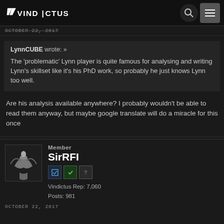Vindictus
October 22, 2017
LynnCUBE wrote: »
The 'problematic' Lynn player is quite famous for analysing and writing Lynn's skillset like it's his PhD work, so probably he just knows Lynn too well.
Are his analysis available anywhere? I probably wouldn't be able to read them anyway, but maybe google translate will do a miracle for this once
Member
SirRFI
Vindictus Rep: 7,060
Posts: 981
OCTOBER 22, 2017